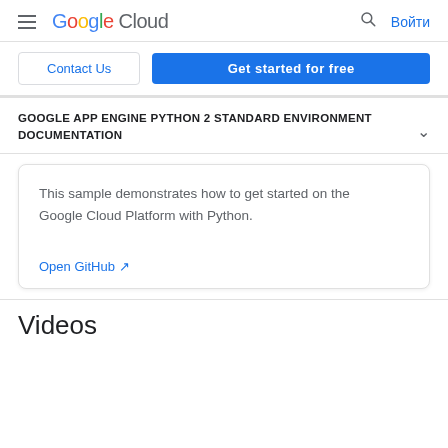Google Cloud  Войти
Contact Us  Get started for free
GOOGLE APP ENGINE PYTHON 2 STANDARD ENVIRONMENT DOCUMENTATION
This sample demonstrates how to get started on the Google Cloud Platform with Python.
Open GitHub ↗
Videos